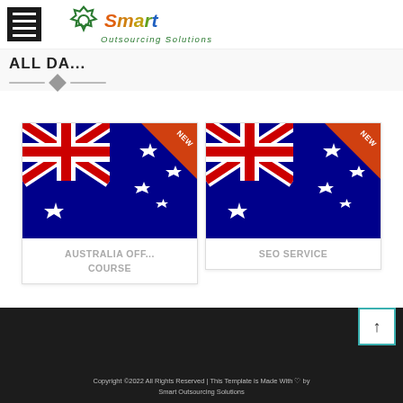Smart Outsourcing Solutions
ALL DATA...
[Figure (illustration): Product card: Australia flag image with NEW badge, titled AUSTRALIA OFF... COURSE]
[Figure (illustration): Product card: Australia flag image with NEW badge, titled SEO SERVICE]
Copyright ©2022 All Rights Reserved | This Template is Made With ♡ by Smart Outsourcing Solutions